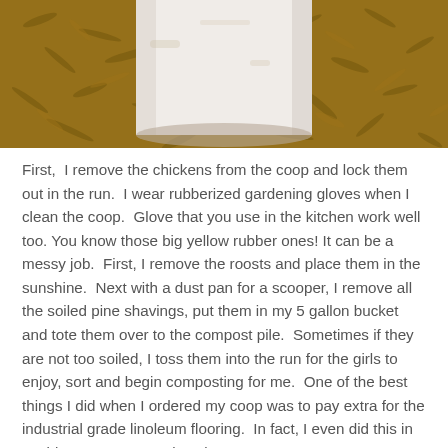[Figure (photo): Close-up photo of the bottom of a white cylindrical container sitting on wood chip mulch/shavings. The background shows brown wood chip material.]
First,  I remove the chickens from the coop and lock them out in the run.  I wear rubberized gardening gloves when I clean the coop.  Glove that you use in the kitchen work well too. You know those big yellow rubber ones! It can be a messy job.  First, I remove the roosts and place them in the sunshine.  Next with a dust pan for a scooper, I remove all the soiled pine shavings, put them in my 5 gallon bucket and tote them over to the compost pile.  Sometimes if they are not too soiled, I toss them into the run for the girls to enjoy, sort and begin composting for me.  One of the best things I did when I ordered my coop was to pay extra for the industrial grade linoleum flooring.  In fact, I even did this in my bigger coop too.  I love it.
[Figure (photo): Partial photo at the bottom of the page showing what appears to be a light blue/grey wooden surface with a metal hinge or hardware visible. The image is cropped.]